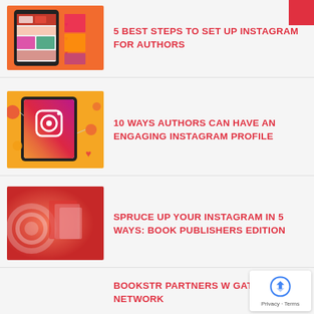[Figure (screenshot): Thumbnail showing a smartphone displaying an Instagram feed, with red background]
5 BEST STEPS TO SET UP INSTAGRAM FOR AUTHORS
[Figure (illustration): Thumbnail showing a tablet with the Instagram logo on a golden/yellow background with social media icons]
10 WAYS AUTHORS CAN HAVE AN ENGAGING INSTAGRAM PROFILE
[Figure (photo): Thumbnail showing a blurred red background with circular graphic elements]
SPRUCE UP YOUR INSTAGRAM IN 5 WAYS: BOOK PUBLISHERS EDITION
BOOKSTR PARTNERS W GATHER NETWORK